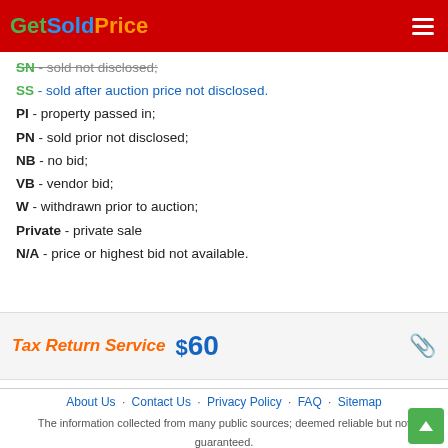GetSoldPrice
SN - sold not disclosed;
SS - sold after auction price not disclosed.
PI - property passed in;
PN - sold prior not disclosed;
NB - no bid;
VB - vendor bid;
W - withdrawn prior to auction;
Private - private sale
N/A - price or highest bid not available.
[Figure (infographic): Tax Return Service advertisement banner with orange text and dollar sign graphic]
About Us · Contact Us · Privacy Policy · FAQ · Sitemap
The information collected from many public sources; deemed reliable but not guaranteed.